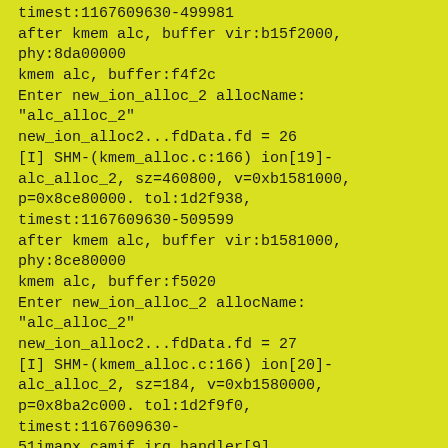timest:1167609630-499981
after kmem alc, buffer vir:b15f2000,
phy:8da00000
kmem alc, buffer:f4f2c
Enter new_ion_alloc_2 allocName:
"alc_alloc_2"
new_ion_alloc2...fdData.fd = 26
[I] SHM-(kmem_alloc.c:166) ion[19]-alc_alloc_2, sz=460800, v=0xb1581000,
p=0x8ce80000. tol:1d2f938,
timest:1167609630-509599
after kmem alc, buffer vir:b1581000,
phy:8ce80000
kmem alc, buffer:f5020
Enter new_ion_alloc_2 allocName:
"alc_alloc_2"
new_ion_alloc2...fdData.fd = 27
[I] SHM-(kmem_alloc.c:166) ion[20]-alc_alloc_2, sz=184, v=0xb1580000,
p=0x8ba2c000. tol:1d2f9f0,
timest:1167609630-51imapx_camif_irq_handler[9]